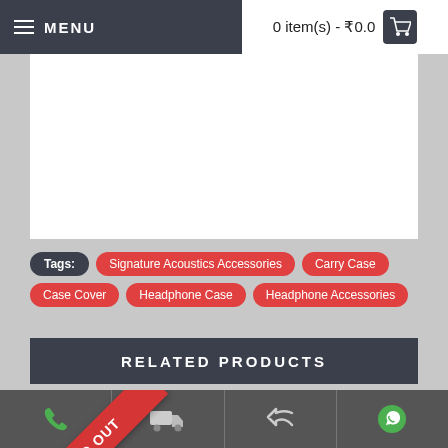MENU | 0 item(s) - ₹0.0
Tags: Signature Acoustics Accessories | Carry Case | Case Cover | Headphone Case | Headphone Accessories
RELATED PRODUCTS
[Figure (photo): Audio cable with 3.5mm jack connector on a light background, with a SOLD OUT red diagonal ribbon in the top-left corner.]